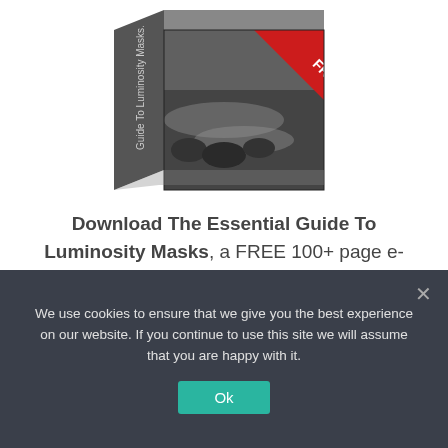[Figure (illustration): 3D book box titled 'Essential Guide To Luminosity Masks' with a black and white ocean/rocks landscape photo on the cover and a red corner 'FREE' banner]
Download The Essential Guide To Luminosity Masks, a FREE 100+ page e-book that will teach you all you need to
We use cookies to ensure that we give you the best experience on our website. If you continue to use this site we will assume that you are happy with it.
Ok